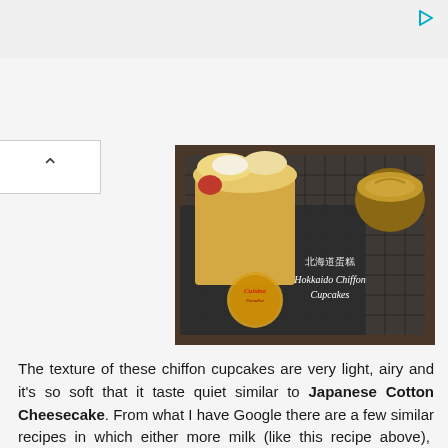[Figure (photo): Photo of Hokkaido Chiffon Cupcakes on a wire rack with a drink, featuring a Cuisine Paradise watermark logo and text '北海道蛋糕 Hokkaido Chiffon Cupcakes']
The texture of these chiffon cupcakes are very light, airy and it's so soft that it taste quiet similar to Japanese Cotton Cheesecake. From what I have Google there are a few similar recipes in which either more milk (like this recipe above),  more egg whites than yolks or adding of baking powder or cream of tatar in the ingredients list. No matter which recipe(s) you trying I am sure there is one that suits you well.